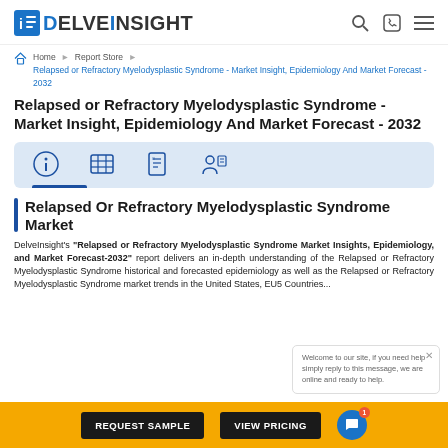DelveInsight
Home › Report Store › Relapsed or Refractory Myelodysplastic Syndrome - Market Insight, Epidemiology And Market Forecast - 2032
Relapsed or Refractory Myelodysplastic Syndrome - Market Insight, Epidemiology And Market Forecast - 2032
[Figure (infographic): Icon bar with four icons: info, table/grid, checklist, person with document, on light blue background with blue underline tab]
Relapsed Or Refractory Myelodysplastic Syndrome Market
DelveInsight's "Relapsed or Refractory Myelodysplastic Syndrome Market Insights, Epidemiology, and Market Forecast-2032" report delivers an in-depth understanding of the Relapsed or Refractory Myelodysplastic Syndrome historical and forecasted epidemiology as well as the Relapsed or Refractory Myelodysplastic Syndrome market trends in the United States, EU5 Countries...
REQUEST SAMPLE   VIEW PRICING